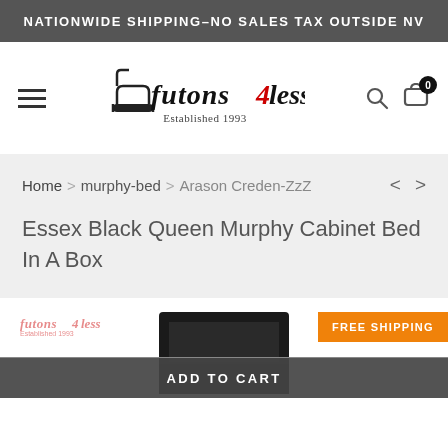NATIONWIDE SHIPPING–NO SALES TAX OUTSIDE NV
[Figure (logo): Futons 4 Less – Established 1993 logo with hamburger menu, search icon, and cart icon with badge showing 0]
Home > murphy-bed > Arason Creden-ZzZ
Essex Black Queen Murphy Cabinet Bed In A Box
[Figure (photo): Product photo area showing Futons 4 Less watermark logo, a black cabinet bed product image, a FREE SHIPPING badge, and an ADD TO CART bar at the bottom]